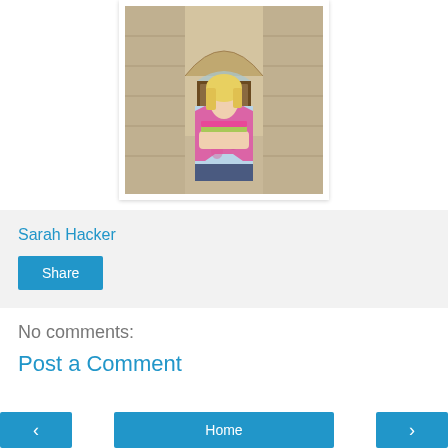[Figure (photo): Woman with blonde hair wearing a pink cardigan and floral dress, holding magazines, standing in front of an arched stone building entrance with wooden doors]
Sarah Hacker
Share
No comments:
Post a Comment
Home